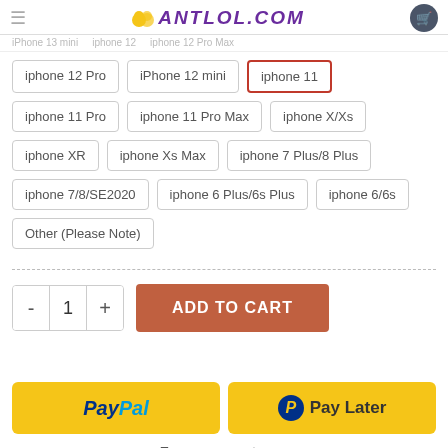ANTLOL.COM — iPhone 13 mini  iphone 12  iphone 12 Pro Max
iphone 12 Pro
iPhone 12 mini
iphone 11 (selected)
iphone 11 Pro
iphone 11 Pro Max
iphone X/Xs
iphone XR
iphone Xs Max
iphone 7 Plus/8 Plus
iphone 7/8/SE2020
iphone 6 Plus/6s Plus
iphone 6/6s
Other (Please Note)
- 1 + ADD TO CART
[Figure (other): PayPal button and Pay Later button side by side on yellow background]
Two easy ways to pay